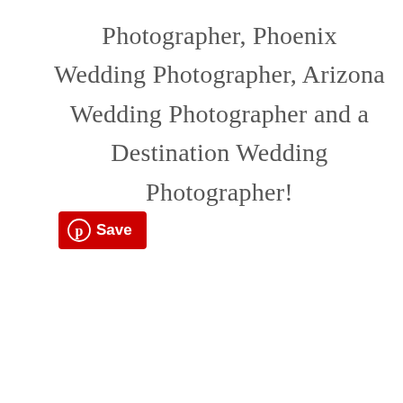Photographer, Phoenix Wedding Photographer, Arizona Wedding Photographer and a Destination Wedding Photographer!
[Figure (other): Red Pinterest Save button with Pinterest logo icon and text 'Save']